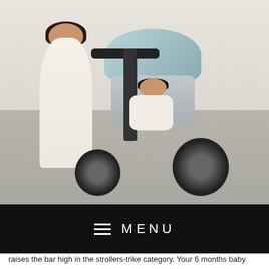[Figure (photo): A woman in a white dress stands behind a child seated on a Bentley stroller-trike with a light blue canopy, photographed outdoors on stone pavement against a light wall.]
MENU
raises the bar high in the strollers-trike category. Your 6 months baby